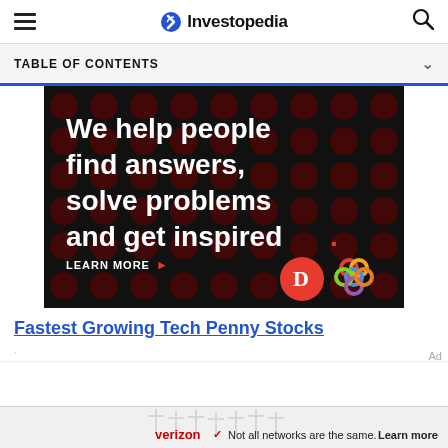Investopedia
TABLE OF CONTENTS
[Figure (illustration): Advertisement banner with dark background showing red dot pattern. Text reads: 'We help people find answers, solve problems and get inspired.' with 'LEARN MORE' call to action and logos for Dictionary.com and Merriam-Webster.]
Fastest Growing Tech Penny Stocks
[Figure (illustration): Verizon advertisement bar showing antenna towers silhouette, Verizon logo, text 'Not all networks are the same. Learn more']